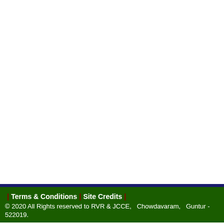| Terms & Conditions | Site Credits | © 2020 All Rights reserved to RVR & JCCE,  Chowdavaram,  Guntur - 522019.